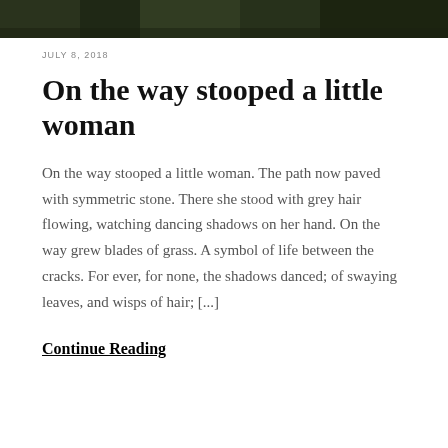[Figure (photo): Dark green foliage photo banner at top of page]
JULY 8, 2018
On the way stooped a little woman
On the way stooped a little woman. The path now paved with symmetric stone. There she stood with grey hair flowing, watching dancing shadows on her hand. On the way grew blades of grass. A symbol of life between the cracks. For ever, for none, the shadows danced; of swaying leaves, and wisps of hair; [...]
Continue Reading